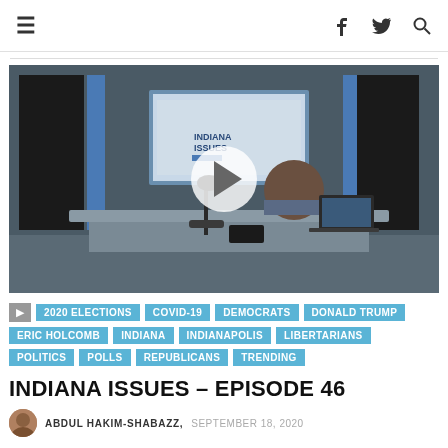≡  f  🐦  🔍
[Figure (screenshot): Video thumbnail showing a man in a blazer and mask sitting at a broadcast desk in a professional studio with 'Indiana Issues' displayed on a screen behind him. A play button overlay is visible in the center.]
2020 ELECTIONS
COVID-19
DEMOCRATS
DONALD TRUMP
ERIC HOLCOMB
INDIANA
INDIANAPOLIS
LIBERTARIANS
POLITICS
POLLS
REPUBLICANS
TRENDING
INDIANA ISSUES – EPISODE 46
ABDUL HAKIM-SHABAZZ, SEPTEMBER 18, 2020